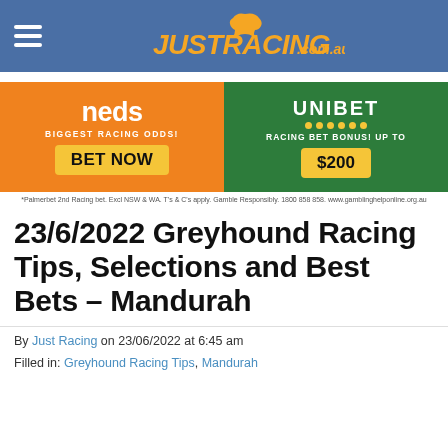JUSTRACING.com.au
[Figure (infographic): Neds betting ad: orange background, 'neds', 'BIGGEST RACING ODDS!', yellow BET NOW button. Unibet betting ad: green background, 'UNIBET', yellow dots, 'RACING BET BONUS! UP TO', yellow $200 button.]
*Palmerbet 2nd Racing bet. Excl NSW & WA. T's & C's apply. Gamble Responsibly. 1800 858 858. www.gamblinghelponline.org.au
23/6/2022 Greyhound Racing Tips, Selections and Best Bets – Mandurah
By Just Racing on 23/06/2022 at 6:45 am
Filled in: Greyhound Racing Tips, Mandurah